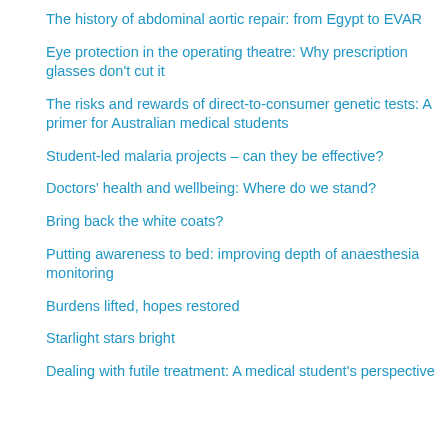The history of abdominal aortic repair: from Egypt to EVAR
Eye protection in the operating theatre: Why prescription glasses don't cut it
The risks and rewards of direct-to-consumer genetic tests: A primer for Australian medical students
Student-led malaria projects – can they be effective?
Doctors' health and wellbeing: Where do we stand?
Bring back the white coats?
Putting awareness to bed: improving depth of anaesthesia monitoring
Burdens lifted, hopes restored
Starlight stars bright
Dealing with futile treatment: A medical student's perspective